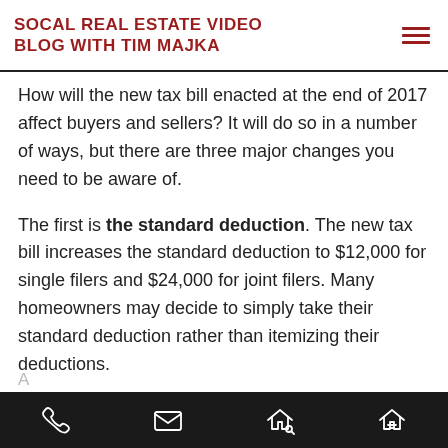SOCAL REAL ESTATE VIDEO BLOG WITH TIM MAJKA
How will the new tax bill enacted at the end of 2017 affect buyers and sellers? It will do so in a number of ways, but there are three major changes you need to be aware of.
The first is the standard deduction. The new tax bill increases the standard deduction to $12,000 for single filers and $24,000 for joint filers. Many homeowners may decide to simply take their standard deduction rather than itemizing their deductions.
Phone | Email | Home search | Home value icons